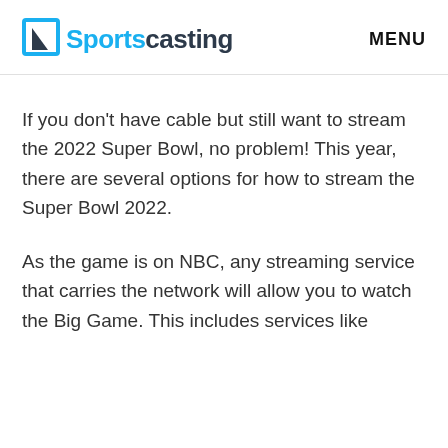Sportscasting   MENU
If you don't have cable but still want to stream the 2022 Super Bowl, no problem! This year, there are several options for how to stream the Super Bowl 2022.
As the game is on NBC, any streaming service that carries the network will allow you to watch the Big Game. This includes services like